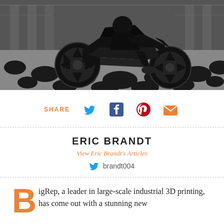[Figure (photo): Black 3D-printed motorcycle with geometric angular design, rider in black clothing, riding on a black-and-white patterned floor in an urban setting]
SHARE
Eric Brandt
View Eric Brandt's Articles
brandt004
BigRep, a leader in large-scale industrial 3D printing, has come out with a stunning new